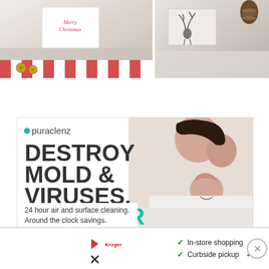[Figure (photo): Top portion of webpage showing two Christmas-themed photos: left shows a 'Merry Christmas' gift card with red and white striped straw/ribbon and jingle bells; right shows a reindeer-stamped card with a pine cone]
[Figure (infographic): Puraclenz advertisement with a mother and child laughing in white bedding. Logo reads '.puraclenz'. Headline: 'DESTROY MOLD & VIRUSES. NOT YOUR BUDGET.' Subtext: '24 hour air and surface cleaning. Around the clock savings.']
[Figure (infographic): Bottom banner advertisement showing a store logo, checkmarks for 'In-store shopping', 'Curbside pickup', 'Delivery', a blue navigation diamond icon, and an X close button]